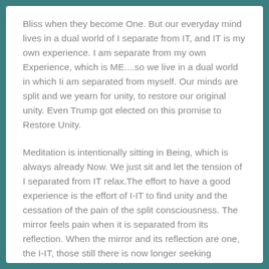Bliss when they become One. But our everyday mind lives in a dual world of I separate from IT, and IT is my own experience. I am separate from my own Experience, which is ME....so we live in a dual world in which Ii am separated from myself. Our minds are split and we yearn for unity, to restore our original unity. Even Trump got elected on this promise to Restore Unity.
Meditation is intentionally sitting in Being, which is always already Now. We just sit and let the tension of I separated from IT relax.The effort to have a good experience is the effort of I-IT to find unity and the cessation of the pain of the split consciousness. The mirror feels pain when it is separated from its reflection. When the mirror and its reflection are one, the I-IT, those still there is now longer seeking Satchitananda.